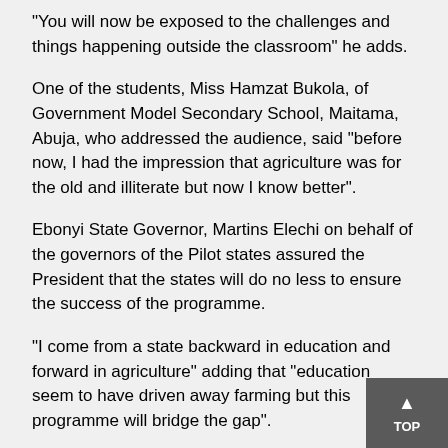“You will now be exposed to the challenges and things happening outside the classroom” he adds.
One of the students, Miss Hamzat Bukola, of Government Model Secondary School, Maitama, Abuja, who addressed the audience, said “before now, I had the impression that agriculture was for the old and illiterate but now I know better”.
Ebonyi State Governor, Martins Elechi on behalf of the governors of the Pilot states assured the President that the states will do no less to ensure the success of the programme.
“I come from a state backward in education and forward in agriculture” adding that “education seem to have driven away farming but this programme will bridge the gap”.
He said the NSAP will be supported by the governors as part of their efforts in ensuring agriculture revolution of the administration’s Transformation Agenda.